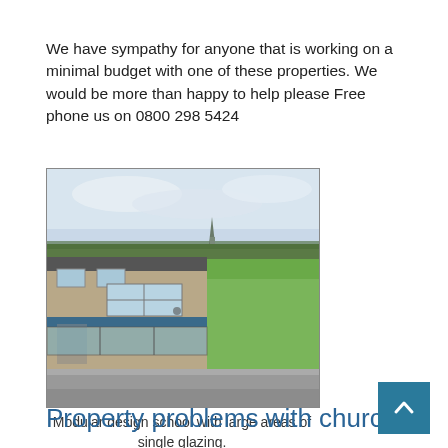We have sympathy for anyone that is working on a minimal budget with one of these properties. We would be more than happy to help please Free phone us on 0800 298 5424
[Figure (photo): Exterior photograph of a modular design school building with flat roof and large areas of single glazing windows, with a green sports field visible in the background and a church spire on the horizon under an overcast sky.]
Modular design school with large areas of single glazing.
Property problems with churches